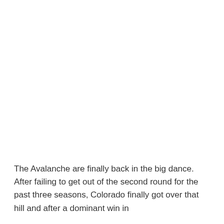The Avalanche are finally back in the big dance. After failing to get out of the second round for the past three seasons, Colorado finally got over that hill and after a dominant win in